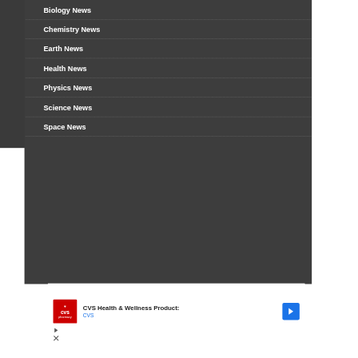Biology News
Chemistry News
Earth News
Health News
Physics News
Science News
Space News
[Figure (other): CVS Health & Wellness Products advertisement banner with CVS pharmacy logo, navigation arrow icon, play button and close button controls]